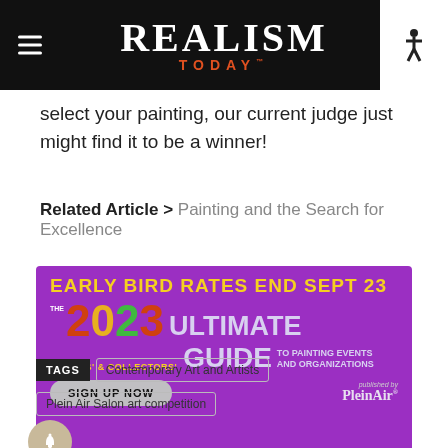REALISM TODAY
select your painting, our current judge just might find it to be a winner!
Related Article > Painting and the Search for Excellence
[Figure (infographic): Advertisement banner: EARLY BIRD RATES END SEPT 23. The 2023 Ultimate Artists' & Collectors' Guide to Painting Events and Organizations. Sign Up Now. Published by PleinAir.]
TAGS: Contemporary Art and Artists
Plein Air Salon art competition